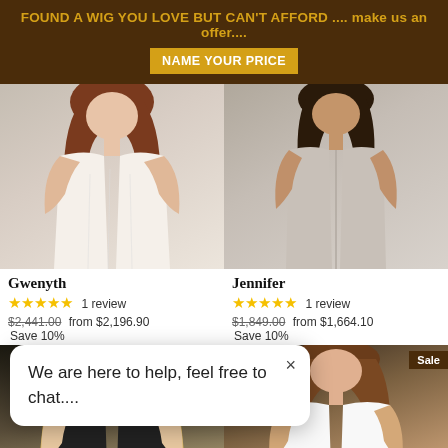FOUND A WIG YOU LOVE BUT CAN'T AFFORD .... make us an offer.... NAME YOUR PRICE
[Figure (photo): Woman in white sleeveless dress – Gwenyth wig product photo]
[Figure (photo): Woman in grey sleeveless top – Jennifer wig product photo]
Gwenyth
★★★★★ 1 review
$2,441.00  from $2,196.90  Save 10%
Jennifer
★★★★★ 1 review
$1,849.00  from $1,664.10  Save 10%
We are here to help, feel free to chat....
[Figure (photo): Woman with long blonde hair – wig product photo bottom left]
[Figure (photo): Woman with medium brown hair – wig product photo bottom right, Sale badge]